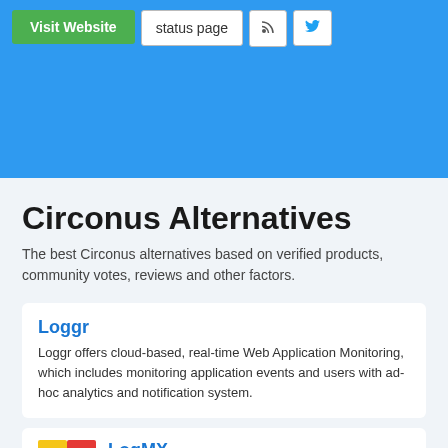Visit Website | status page | RSS | Twitter
Circonus Alternatives
The best Circonus alternatives based on verified products, community votes, reviews and other factors.
Loggr
Loggr offers cloud-based, real-time Web Application Monitoring, which includes monitoring application events and users with ad-hoc analytics and notification system.
LogMX
LogMX is an intuitive and easy platform for...